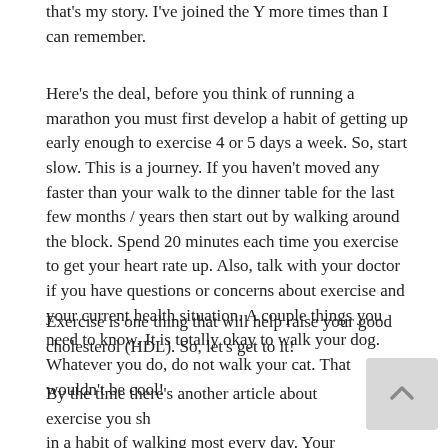that's my story. I've joined the Y more times than I can remember.
Here's the deal, before you think of running a marathon you must first develop a habit of getting up early enough to exercise 4 or 5 days a week. So, start slow. This is a journey. If you haven't moved any faster than your walk to the dinner table for the last few months / years then start out by walking around the block. Spend 20 minutes each time you exercise to get your heart rate up. Also, talk with your doctor if you have questions or concerns about exercise and your current health situation. A couple things you need to know. It is totally okay to walk your dog. Whatever you do, do not walk your cat. That wouldn't be cool!
Exercise is one thing that will help raise your good cholesterol (HDL). So, let's get to it!
By the time there's another article about exercise you sh... in a habit of walking most every day. Your heart is count...ng on it.